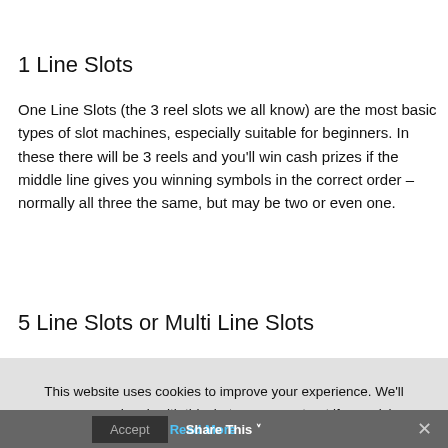1 Line Slots
One Line Slots (the 3 reel slots we all know) are the most basic types of slot machines, especially suitable for beginners. In these there will be 3 reels and you'll win cash prizes if the middle line gives you winning symbols in the correct order – normally all three the same, but may be two or even one.
5 Line Slots or Multi Line Slots
This website uses cookies to improve your experience. We'll assume you're ok with this, but you can opt-out if you wish.
Accept  Read More  Share This  ✕